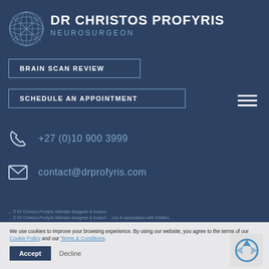[Figure (logo): Geometric brain/globe logo for Dr Christos Profyris Neurosurgeon]
DR CHRISTOS PROFYRIS
NEUROSURGEON
BRAIN SCAN REVIEW
SCHEDULE AN APPOINTMENT
+27 (0)10 900 3999
contact@drprofyris.com
We use cookies to improve your browsing experience. By using our website, you agree to the terms of our Cookie Policy and our Terms & Conditions.
Accept
Decline